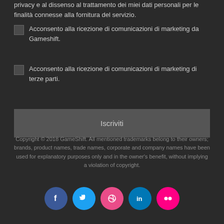privacy e al dissenso al trattamento dei miei dati personali per le finalità connesse alla fornitura del servizio.
Acconsento alla ricezione di comunicazioni di marketing da Gameshift.
Acconsento alla ricezione di comunicazioni di marketing di terze parti.
Iscriviti
Copyright © 2018 GameShift. All mentioned trademarks belong to their owners; brands, product names, trade names, corporate and company names have been used for explanatory purposes only and in the owner's benefit, without implying a violation of copyright.
[Figure (other): Social media icons: Facebook, Twitter, Dribbble, LinkedIn, Flickr]